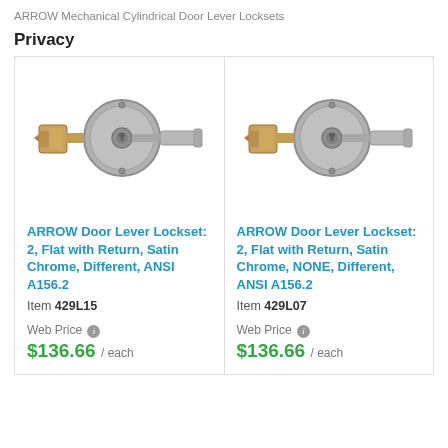ARROW Mechanical Cylindrical Door Lever Locksets
Privacy
[Figure (photo): ARROW door lever lockset with round rose plate and flat lever handle with return, satin chrome finish, latch bolt visible]
ARROW Door Lever Lockset: 2, Flat with Return, Satin Chrome, Different, ANSI A156.2
Item 429L15
Web Price $136.66 / each
[Figure (photo): ARROW door lever lockset with round rose plate and flat lever handle with return, satin chrome finish, latch bolt visible]
ARROW Door Lever Lockset: 2, Flat with Return, Satin Chrome, NONE, Different, ANSI A156.2
Item 429L07
Web Price $136.66 / each